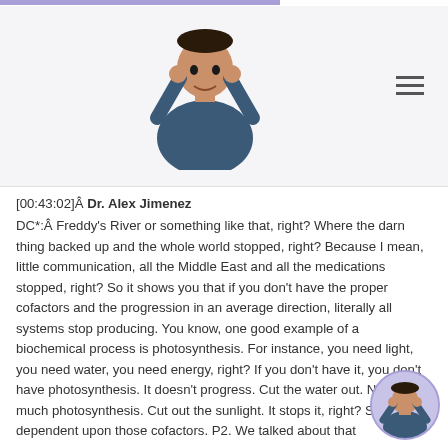[Figure (photo): Dr. Alex Jimenez in blue scrubs giving thumbs up, logo/header image on light purple background]
[00:43:02]Â Dr. Alex Jimenez DC*:Â Freddy's River or something like that, right? Where the darn thing backed up and the whole world stopped, right? Because I mean, little communication, all the Middle East and all the medications stopped, right? So it shows you that if you don't have the proper cofactors and the progression in an average direction, literally all systems stop producing. You know, one good example of a biochemical process is photosynthesis. For instance, you need light, you need water, you need energy, right? If you don't have it, you don't have photosynthesis. It doesn't progress. Cut the water out. Not that much photosynthesis. Cut out the sunlight. It stops it, right? So we are dependent upon those cofactors. P2. We talked about that